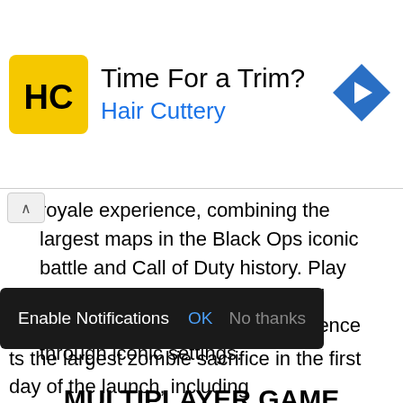[Figure (screenshot): Advertisement banner for Hair Cuttery showing yellow HC logo, text 'Time For a Trim?' and 'Hair Cuttery' in blue, with a blue diamond navigation arrow icon on the right.]
royale experience, combining the largest maps in the Black Ops iconic battle and Call of Duty history. Play as a fan's favorite character, and survive and eliminate the experience through iconic settings.
MULTIPLAYER GAME
The multiplayer game raises the level again, presenting the combat experience in the most stressful and realistic way while focusing on tactics and player choices.
ZOMBIE
[Figure (screenshot): Browser notification prompt bar with dark background showing 'Enable Notifications' text, 'OK' in blue, and 'No thanks' in grey.]
ts the largest zombie sacrifice in the first day of the launch, including